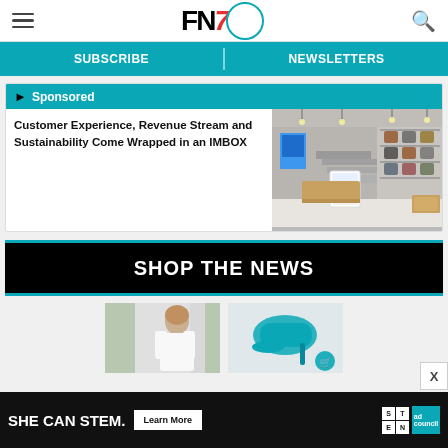FN7 - Footwear News navigation bar with hamburger menu, logo, and search icon
SUBSCRIBE | NEWSLETTERS
Sponsored
Customer Experience, Revenue Stream and Sustainability Come Wrapped in an IMBOX
[Figure (photo): Interior of a shoe retail store with shelves of shoes and a white IMBOX unit at the counter.]
SHOP THE NEWS
[Figure (photo): Product thumbnail images showing a woman in white coat and a heeled shoe.]
SHE CAN STEM. Learn More — ad council advertisement banner